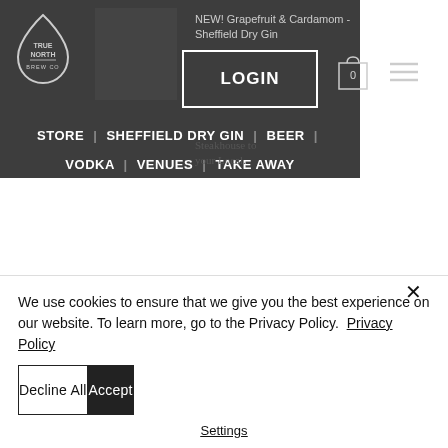[Figure (screenshot): True North Brew Co website header with dark overlay navigation showing logo, LOGIN button, cart icon, hamburger menu, and navigation links: STORE | SHEFFIELD DRY GIN | BEER | VODKA | VENUES | TAKE AWAY]
NEW! Grapefruit & Cardamom - Sheffield Dry Gin
Steakhouse to your Local.
First look: Sheffield Dry Gin's
We use cookies to ensure that we give you the best experience on our website. To learn more, go to the Privacy Policy. Privacy Policy
Decline All
Accept
Settings